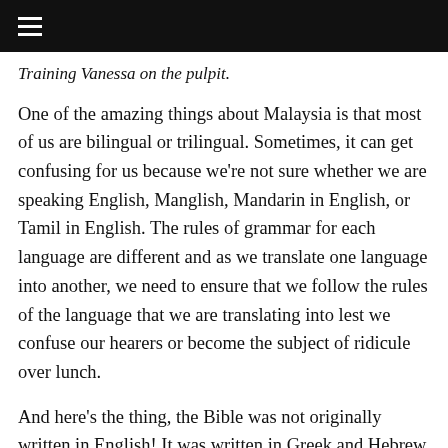≡
Training Vanessa on the pulpit.
One of the amazing things about Malaysia is that most of us are bilingual or trilingual. Sometimes, it can get confusing for us because we're not sure whether we are speaking English, Manglish, Mandarin in English, or Tamil in English. The rules of grammar for each language are different and as we translate one language into another, we need to ensure that we follow the rules of the language that we are translating into lest we confuse our hearers or become the subject of ridicule over lunch.
And here's the thing, the Bible was not originally written in English! It was written in Greek and Hebrew.